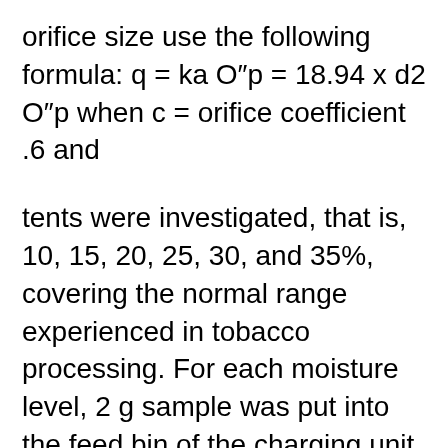orifice size use the following formula: q = ka O″p = 18.94 x d2 O″p when c = orifice coefficient .6 and
tents were investigated, that is, 10, 15, 20, 25, 30, and 35%, covering the normal range experienced in tobacco processing. For each moisture level, 2 g sample was put into the feed bin of the charging unit. The lower ball valve of the charging unit was then opened, and the sample was fed into the drop tube. The corresponding falling time at the positions of each photoelectric detector was Bridge Rules By Neil H. Timm Rule of 2 You should interfere over the bid of 1NT in the balancing seat if you have two shortness points. Otherwise, do not